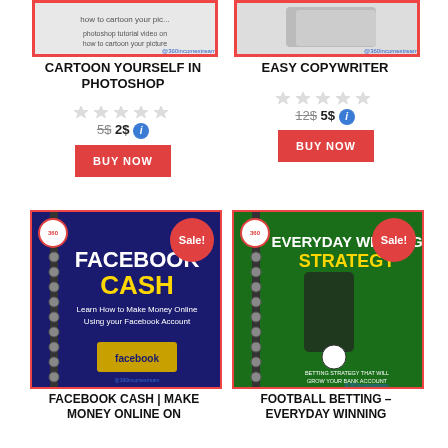[Figure (photo): Cartoon Yourself in Photoshop product thumbnail with @360incomestream branding]
[Figure (photo): Easy Copywriter product thumbnail with @360incomestream branding]
CARTOON YOURSELF IN PHOTOSHOP
EASY COPYWRITER
5$ 2$
12$ 5$
BUY NOW
BUY NOW
[Figure (photo): Facebook Cash book cover with Sale! badge - blue spiral notebook, Learn How to Make Money Online Using your Facebook Account]
[Figure (photo): Football Betting - Everyday Winning Strategy book cover with Sale! badge - green spiral notebook with soccer imagery]
FACEBOOK CASH | MAKE MONEY ONLINE ON
FOOTBALL BETTING – EVERYDAY WINNING